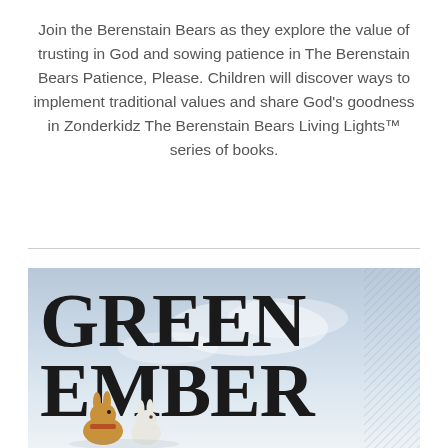Join the Berenstain Bears as they explore the value of trusting in God and sowing patience in The Berenstain Bears Patience, Please. Children will discover ways to implement traditional values and share God’s goodness in Zonderkidz The Berenstain Bears Living Lights™ series of books.
[Figure (illustration): Book cover of 'The Green Ember' showing large serif text 'GREEN EMBER' with two rabbits (one brown, one white) in a misty sky background]